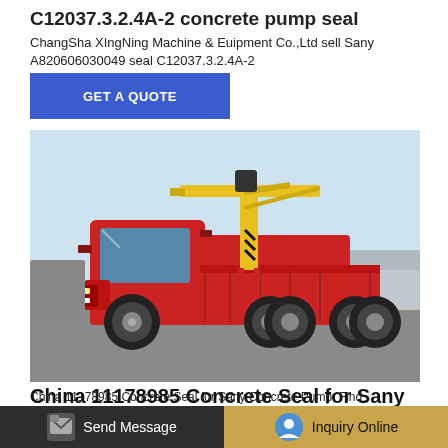C12037.3.2.4A-2 concrete pump seal
ChangSha XIngNing Machine & Euipment Co.,Ltd sell Sany A820606030049 seal C12037.3.2.4A-2
[Figure (other): Blue GET A QUOTE button]
[Figure (photo): Red truck with yellow crane/boom arm mounted on flatbed, parked in industrial yard]
China 11178985 Concrete Seal for Sany
China 11178985 Concrete Seal for Sany Concrete Pump, Find
Send Message | Inquiry Online